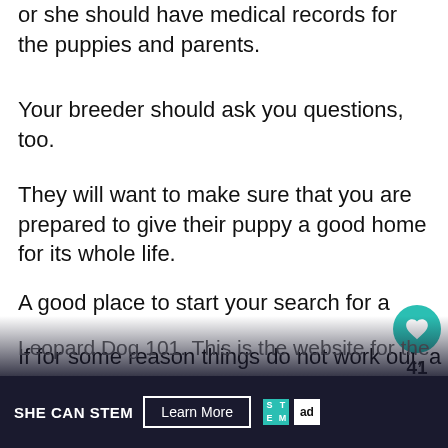or she should have medical records for the puppies and parents.
Your breeder should ask you questions, too.
They will want to make sure that you are prepared to give their puppy a good home for its whole life.
If for some reason things do not work out, a good breeder will always accept their puppies back.
A good place to start your search for a
Leopard Dog 101. This is the website for the
[Figure (screenshot): WHAT'S NEXT arrow label with Caucasian Shepherd D... thumbnail and circular like/share buttons showing count 41]
SHE CAN STEM  Learn More  [ad council logo]